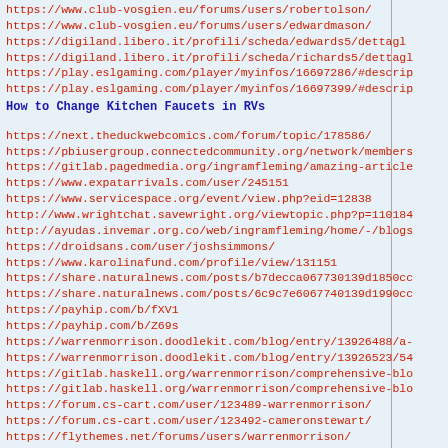https://www.club-vosgien.eu/forums/users/robertolson/
https://www.club-vosgien.eu/forums/users/edwardmason/
https://digiland.libero.it/profili/scheda/edwards5/dettagl
https://digiland.libero.it/profili/scheda/richards5/dettagl
https://play.eslgaming.com/player/myinfos/16697286/#descrip
https://play.eslgaming.com/player/myinfos/16697399/#descrip
How to Change Kitchen Faucets in RVs
https://next.theduckwebcomics.com/forum/topic/178586/
https://pbiusergroup.connectedcommunity.org/network/members
https://gitlab.pagedmedia.org/ingramfleming/amazing-article
https://www.expatarrivals.com/user/245151
https://www.servicespace.org/event/view.php?eid=12838
http://www.wrightchat.savewright.org/viewtopic.php?p=110184
http://ayudas.invemar.org.co/web/ingramfleming/home/-/blogs
https://droidsans.com/user/joshsimmons/
https://www.karolinafund.com/profile/view/131151
https://share.naturalnews.com/posts/b7decca067730139d1850cc
https://share.naturalnews.com/posts/6c9c7e6067740139d1990cc
https://payhip.com/b/fXV1
https://payhip.com/b/Z69s
https://warrenmorrison.doodlekit.com/blog/entry/13926488/a-
https://warrenmorrison.doodlekit.com/blog/entry/13926523/54
https://gitlab.haskell.org/warrenmorrison/comprehensive-blo
https://gitlab.haskell.org/warrenmorrison/comprehensive-blo
https://forum.cs-cart.com/user/123489-warrenmorrison/
https://forum.cs-cart.com/user/123492-cameronstewart/
https://flythemes.net/forums/users/warrenmorrison/
https://flythemes.net/forums/users/cameronstewart/
http://ns86.webmasters.com/*extraspecialpuppyclub.com/httd